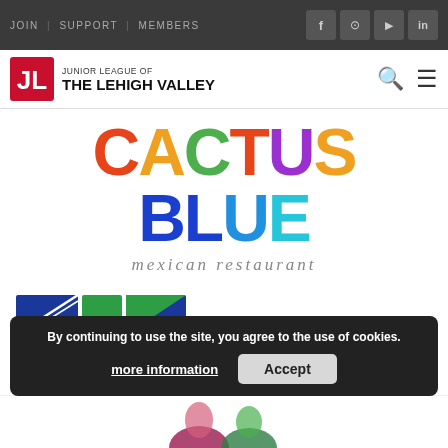JOIN | SUPPORT | MEMBERS
[Figure (logo): Junior League of The Lehigh Valley logo with JL monogram in red square]
[Figure (logo): Cactus Blue Mexican Restaurant colorful logo with rainbow lettering and subtitle 'mexican restaurant']
[Figure (logo): Petrucci Development Design/Build logo with blue and green square grid design]
By continuing to use the site, you agree to the use of cookies.
more information
Accept